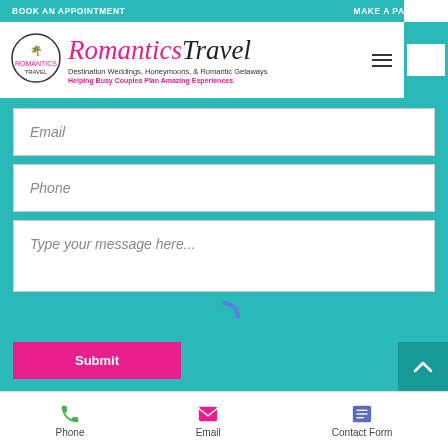BOOK AN APPOINTMENT    MAKE A PAYMENT
[Figure (logo): Romantics Travel logo with circular emblem, brand name in script font, taglines for Destination Weddings, Honeymoons, & Romantic Getaways and Helping Busy Couples Plan Amazing Experiences]
Email
Phone
Type your message here...
[Figure (other): Blue loading spinner icon]
Submit
Phone    Email    Contact Form